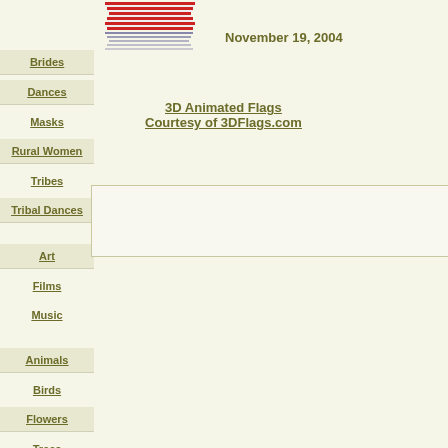Brides
Dances
Masks
Rural Women
Tribes
Tribal Dances
Art
Films
Music
Animals
Birds
Flowers
Trees
[Figure (illustration): Animated flag graphic with red, white and blue horizontal stripes]
November 19, 2004
3D Animated Flags
Courtesy of 3DFlags.com